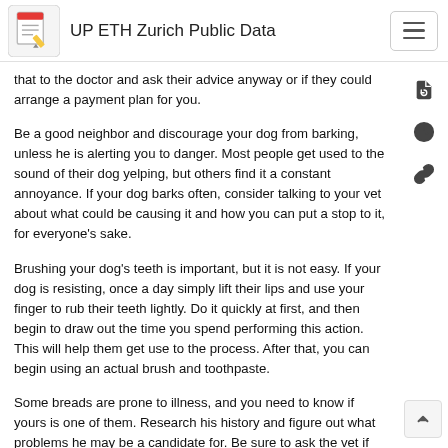UP ETH Zurich Public Data
that to the doctor and ask their advice anyway or if they could arrange a payment plan for you.
Be a good neighbor and discourage your dog from barking, unless he is alerting you to danger. Most people get used to the sound of their dog yelping, but others find it a constant annoyance. If your dog barks often, consider talking to your vet about what could be causing it and how you can put a stop to it, for everyone's sake.
Brushing your dog's teeth is important, but it is not easy. If your dog is resisting, once a day simply lift their lips and use your finger to rub their teeth lightly. Do it quickly at first, and then begin to draw out the time you spend performing this action. This will help them get use to the process. After that, you can begin using an actual brush and toothpaste.
Some breads are prone to illness, and you need to know if yours is one of them. Research his history and figure out what problems he may be a candidate for. Be sure to ask the vet if there is anything you can do in order to avoid